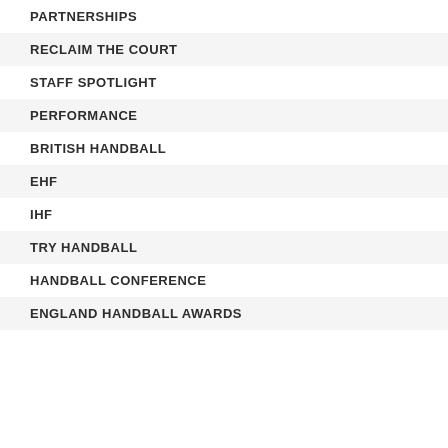PARTNERSHIPS
RECLAIM THE COURT
STAFF SPOTLIGHT
PERFORMANCE
BRITISH HANDBALL
EHF
IHF
TRY HANDBALL
HANDBALL CONFERENCE
ENGLAND HANDBALL AWARDS